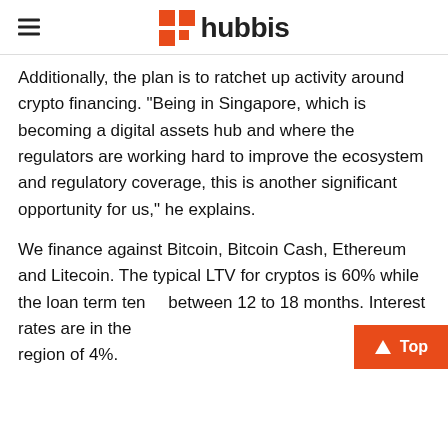hubbis
Additionally, the plan is to ratchet up activity around crypto financing. “Being in Singapore, which is becoming a digital assets hub and where the regulators are working hard to improve the ecosystem and regulatory coverage, this is another significant opportunity for us,” he explains.
We finance against Bitcoin, Bitcoin Cash, Ethereum and Litecoin. The typical LTV for cryptos is 60% while the loan term tends between 12 to 18 months. Interest rates are in the region of 4%.